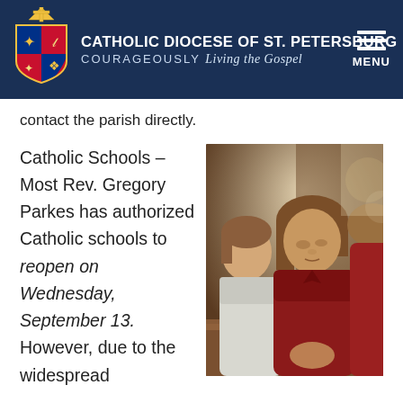CATHOLIC DIOCESE OF ST. PETERSBURG — COURAGEOUSLY Living the Gospel
contact the parish directly.
Catholic Schools – Most Rev. Gregory Parkes has authorized Catholic schools to reopen on Wednesday, September 13. However, due to the widespread
[Figure (photo): Children in red uniforms praying or reading in a church pew, shot in warm indoor light]